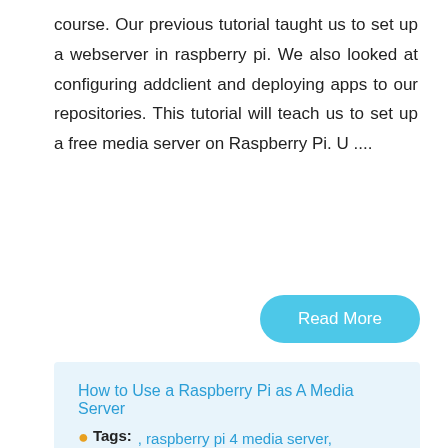course. Our previous tutorial taught us to set up a webserver in raspberry pi. We also looked at configuring addclient and deploying apps to our repositories. This tutorial will teach us to set up a free media server on Raspberry Pi. U ....
Read More
How to Use a Raspberry Pi as A Media Server
Tags: , raspberry pi 4 media server, media server in raspberry pi 4, plex in rpi4, rpi4 plex, media server rpi4, rpi4 media server,